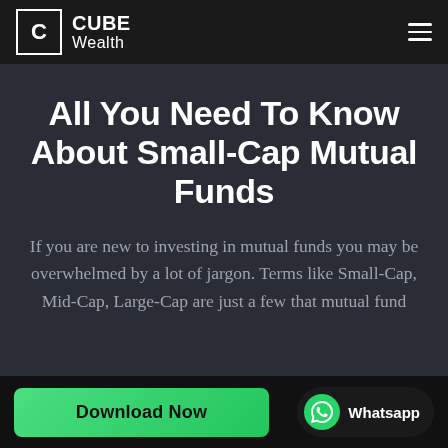CUBE Wealth
All You Need To Know About Small-Cap Mutual Funds
If you are new to investing in mutual funds you may be overwhelmed by a lot of jargon. Terms like Small-Cap, Mid-Cap, Large-Cap are just a few that mutual fund